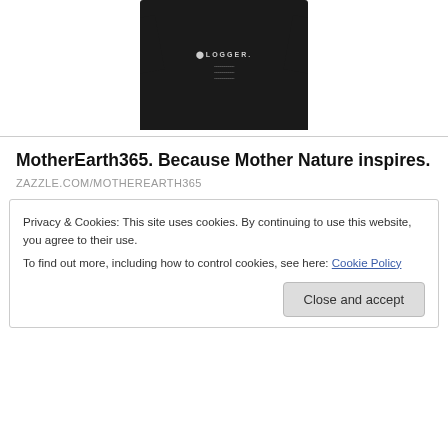[Figure (photo): Woman wearing a black t-shirt with 'BLOGGER' text printed on it]
MotherEarth365. Because Mother Nature inspires.
ZAZZLE.COM/MOTHEREARTH365
Privacy & Cookies: This site uses cookies. By continuing to use this website, you agree to their use.
To find out more, including how to control cookies, see here: Cookie Policy
Close and accept